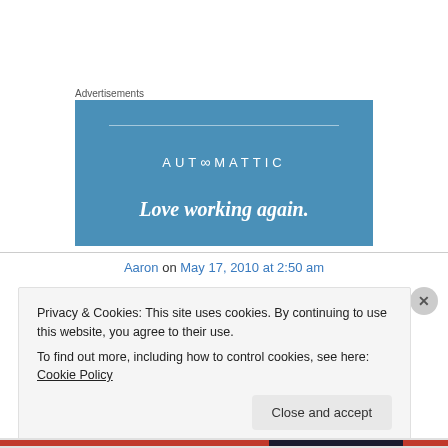Advertisements
[Figure (logo): Automattic advertisement banner with blue background, showing the Automattic logo text with infinity symbol, a horizontal line, and the tagline 'Love working again.' in italic serif font]
Aaron on May 17, 2010 at 2:50 am
Privacy & Cookies: This site uses cookies. By continuing to use this website, you agree to their use.
To find out more, including how to control cookies, see here: Cookie Policy
Close and accept